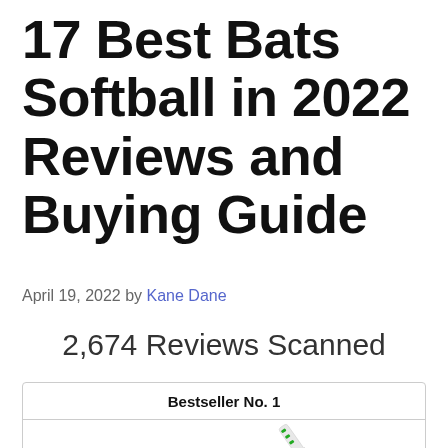17 Best Bats Softball in 2022 Reviews and Buying Guide
April 19, 2022 by Kane Dane
2,674 Reviews Scanned
Bestseller No. 1
[Figure (photo): Easton softball bat product image, partially visible, shown diagonally]